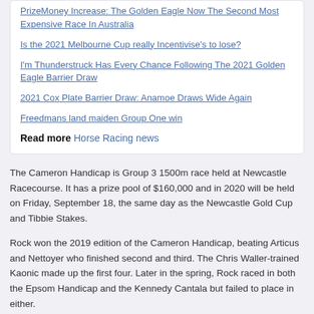PrizeMoney Increase: The Golden Eagle Now The Second Most Expensive Race In Australia
Is the 2021 Melbourne Cup really Incentivise's to lose?
I'm Thunderstruck Has Every Chance Following The 2021 Golden Eagle Barrier Draw
2021 Cox Plate Barrier Draw: Anamoe Draws Wide Again
Freedmans land maiden Group One win
Read more Horse Racing news
The Cameron Handicap is Group 3 1500m race held at Newcastle Racecourse. It has a prize pool of $160,000 and in 2020 will be held on Friday, September 18, the same day as the Newcastle Gold Cup and Tibbie Stakes.
Rock won the 2019 edition of the Cameron Handicap, beating Articus and Nettoyer who finished second and third. The Chris Waller-trained Kaonic made up the first four. Later in the spring, Rock raced in both the Epsom Handicap and the Kennedy Cantala but failed to place in either.